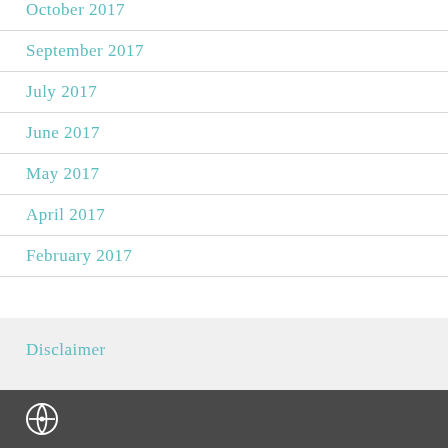October 2017
September 2017
July 2017
June 2017
May 2017
April 2017
February 2017
Disclaimer
[Figure (logo): WordPress logo icon in white on dark background]